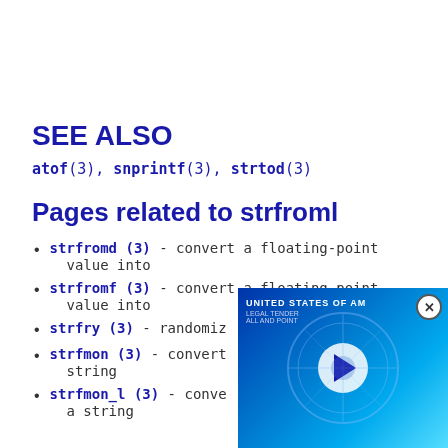SEE ALSO
atof(3), snprintf(3), strtod(3)
Pages related to strfroml
strfromd (3) - convert a floating-point value into
strfromf (3) - convert a floating-point value into
strfry (3) - randomiz...
strfmon (3) - convert ... string
strfmon_l (3) - conve... a string
[Figure (screenshot): Video player overlay showing a US dollar bill image with a play button and close (X) button in the top-right corner]